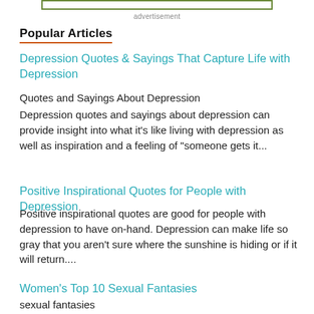[Figure (other): Advertisement box placeholder with olive green border at top of page]
advertisement
Popular Articles
Depression Quotes & Sayings That Capture Life with Depression
Quotes and Sayings About Depression
Depression quotes and sayings about depression can provide insight into what it's like living with depression as well as inspiration and a feeling of "someone gets it...
Positive Inspirational Quotes for People with Depression
Positive inspirational quotes are good for people with depression to have on-hand. Depression can make life so gray that you aren't sure where the sunshine is hiding or if it will return....
Women's Top 10 Sexual Fantasies
sexual fantasies